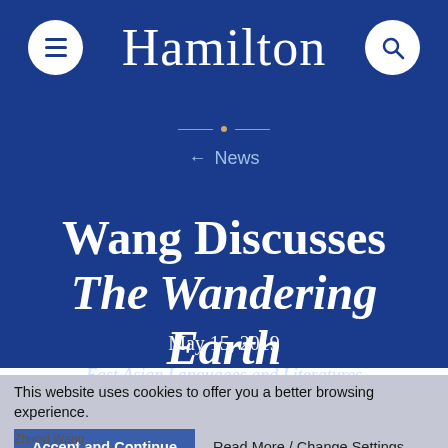Hamilton
← News
Wang Discusses The Wandering Earth
May 15, 2019
East Asian Languages and Literatures
This website uses cookies to offer you a better browsing experience.
Accept and Continue
Read More / Change Settings
Zhuoyi Wang